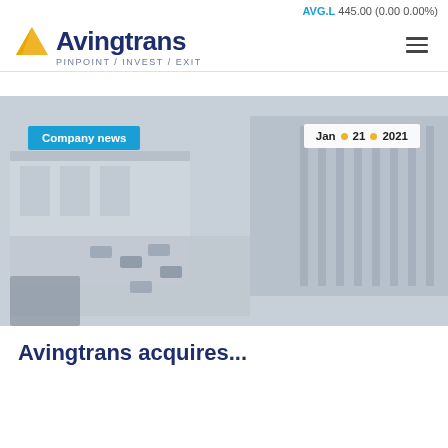AVG.L 445.00 (0.00 0.00%)
[Figure (logo): Avingtrans logo with yellow/gold triangle A icon and dark blue text 'Avingtrans', tagline 'PINPOINT / INVEST / EXIT']
[Figure (photo): Aerial photograph of an industrial/commercial building complex with car park, overlaid with 'Company news' badge (blue) top left and date badge 'Jan • 21 • 2021' top right]
Company news
Jan • 21 • 2021
Avingtrans acquires...